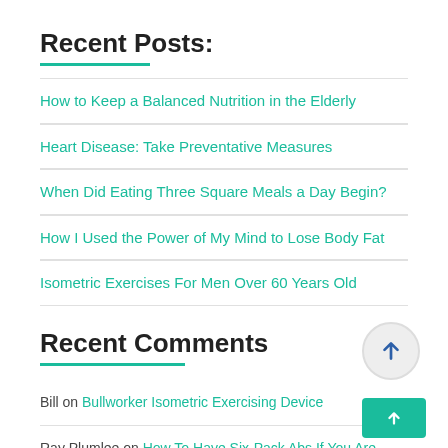Recent Posts:
How to Keep a Balanced Nutrition in the Elderly
Heart Disease: Take Preventative Measures
When Did Eating Three Square Meals a Day Begin?
How I Used the Power of My Mind to Lose Body Fat
Isometric Exercises For Men Over 60 Years Old
Recent Comments
Bill on Bullworker Isometric Exercising Device
Ray Plumlee on How To Have Six-Pack Abs If You Are Over 60